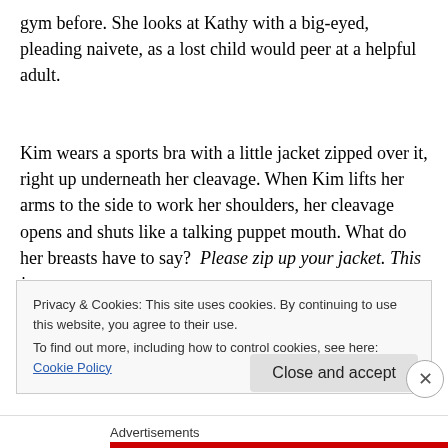gym before. She looks at Kathy with a big-eyed, pleading naivete, as a lost child would peer at a helpful adult.
Kim wears a sports bra with a little jacket zipped over it, right up underneath her cleavage. When Kim lifts her arms to the side to work her shoulders, her cleavage opens and shuts like a talking puppet mouth. What do her breasts have to say?  Please zip up your jacket. This is
Privacy & Cookies: This site uses cookies. By continuing to use this website, you agree to their use.
To find out more, including how to control cookies, see here: Cookie Policy
Close and accept
Advertisements